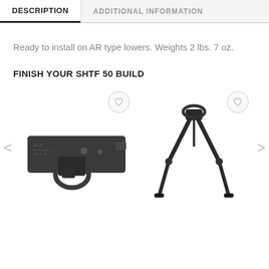DESCRIPTION
ADDITIONAL INFORMATION
Ready to install on AR type lowers. Weights 2 lbs. 7 oz.
FINISH YOUR SHTF 50 BUILD
[Figure (photo): Two product images: left shows a dark metal AR lower receiver/trigger group; right shows a black bipod. Both have circular wishlist heart buttons. Navigation arrows on left and right sides.]